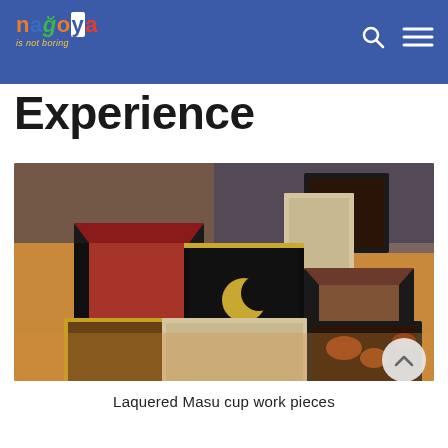nagoya is not boring
Experience
[Figure (photo): Several lacquered Masu (square wooden cup) work pieces arranged on a light wooden surface, showing various finishes including black lacquer with red interior, metallic textures, gold trim, and a crescent moon motif. The boxes are open-topped square containers of varying sizes.]
Laquered Masu cup work pieces